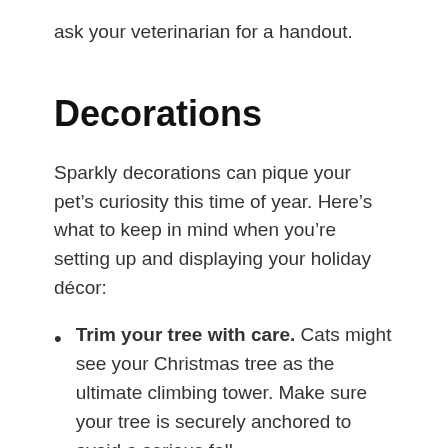ask your veterinarian for a handout.
Decorations
Sparkly decorations can pique your pet’s curiosity this time of year. Here’s what to keep in mind when you’re setting up and displaying your holiday décor:
Trim your tree with care. Cats might see your Christmas tree as the ultimate climbing tower. Make sure your tree is securely anchored to avoid a serious fall.